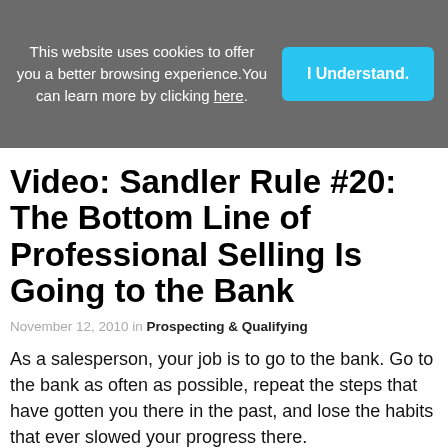This website uses cookies to offer you a better browsing experience. You can learn more by clicking here.
I Understand.
Video: Sandler Rule #20: The Bottom Line of Professional Selling Is Going to the Bank
November 12, 2010 in Prospecting & Qualifying
As a salesperson, your job is to go to the bank. Go to the bank as often as possible, repeat the steps that have gotten you there in the past, and lose the habits that ever slowed your progress there.